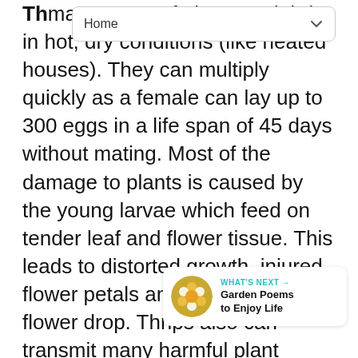Home
Th many types of plants and thrive in hot, dry conditions (like heated houses). They can multiply quickly as a female can lay up to 300 eggs in a life span of 45 days without mating. Most of the damage to plants is caused by the young larvae which feed on tender leaf and flower tissue. This leads to distorted growth, injured flower petals and premature flower drop. Thrips also can transmit many harmful plant viruses.
[Figure (illustration): Heart/like button icon (teal circle with white heart)]
1
[Figure (illustration): Share button icon (white circle with share symbol)]
[Figure (illustration): What's Next card with flower thumbnail, label 'WHAT'S NEXT →', title 'Garden Poems to Enjoy Life']